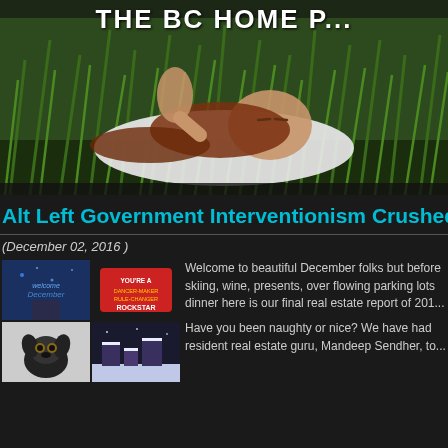[Figure (photo): Woman lying in tall green grass, wearing white top, with red hair, eyes closed. Header banner for 'THE BC HOME P...' website.]
Alt Left Government Interventionism Crushed The...
(December 02, 2016 )
[Figure (photo): Grid of four thumbnail images: welcome December, You're a rockstar sign, dog with glasses, and snowy town scene]
Welcome to beautiful December folks but before skiing, wine, presents, over flowing parking lots dinner here is our final real estate report of 201...
Have you been naughty or nice? We have had resident real estate guru, Mandeep Sendher, to...